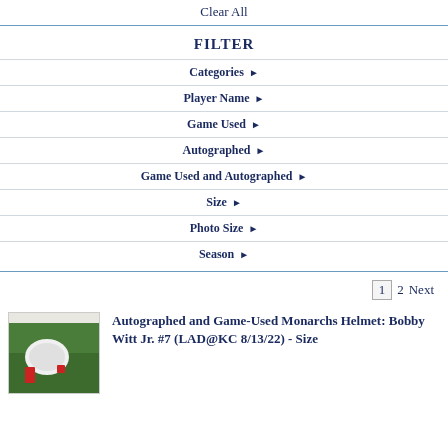Clear All
FILTER
Categories ▶
Player Name ▶
Game Used ▶
Autographed ▶
Game Used and Autographed ▶
Size ▶
Photo Size ▶
Season ▶
1  2  Next
Autographed and Game-Used Monarchs Helmet: Bobby Witt Jr. #7 (LAD@KC 8/13/22) - Size